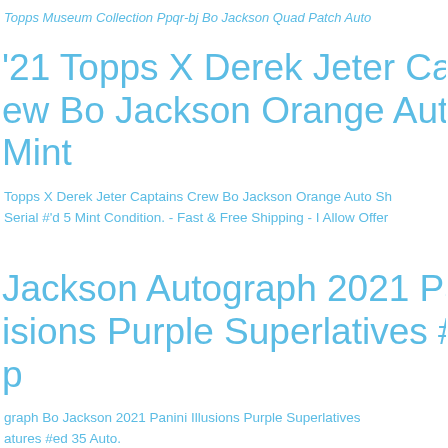Topps Museum Collection Ppqr-bj Bo Jackson Quad Patch Auto
'21 Topps X Derek Jeter Captains ew Bo Jackson Orange Auto Serial # Mint
Topps X Derek Jeter Captains Crew Bo Jackson Orange Auto Sh Serial #'d 5 Mint Condition. - Fast & Free Shipping - I Allow Offer
Jackson Autograph 2021 Panini isions Purple Superlatives # 3/5 Aut p
graph Bo Jackson 2021 Panini Illusions Purple Superlatives atures #ed 35 Auto.